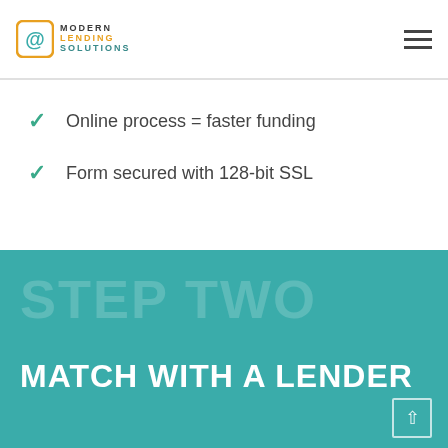Modern Lending Solutions
Online process = faster funding
Form secured with 128-bit SSL
STEP TWO
MATCH WITH A LENDER